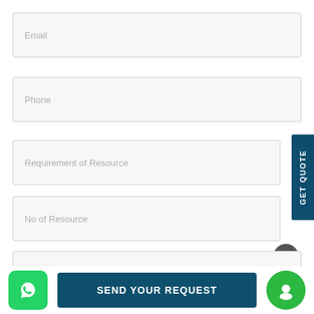Email
Phone
Requirement of Resource
No of Resource
Budget per Resource
GET QUOTE
SEND YOUR REQUEST